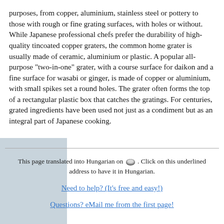purposes, from copper, aluminium, stainless steel or pottery to those with rough or fine grating surfaces, with holes or without. While Japanese professional chefs prefer the durability of high-quality tincoated copper graters, the common home grater is usually made of ceramic, aluminium or plastic. A popular all-purpose "two-in-one" grater, with a course surface for daikon and a fine surface for wasabi or ginger, is made of copper or aluminium, with small spikes set a round holes. The grater often forms the top of a rectangular plastic box that catches the gratings. For centuries, grated ingredients have been used not just as a condiment but as an integral part of Japanese cooking.
This page translated into Hungarian on [icon]. Click on this underlined address to have it in Hungarian.
Need to help? (It's free and easy!)
Questions? eMail me from the first page!